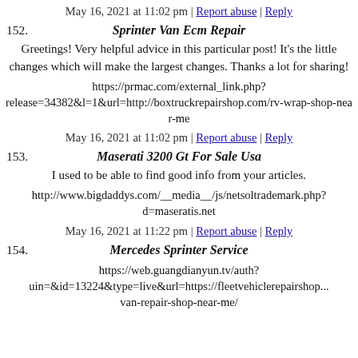May 16, 2021 at 11:02 pm | Report abuse | Reply
152.   Sprinter Van Ecm Repair
Greetings! Very helpful advice in this particular post! It's the little changes which will make the largest changes. Thanks a lot for sharing!
https://prmac.com/external_link.php?release=34382&l=1&url=http://boxtruckrepairshop.com/rv-wrap-shop-near-me
May 16, 2021 at 11:02 pm | Report abuse | Reply
153.   Maserati 3200 Gt For Sale Usa
I used to be able to find good info from your articles.
http://www.bigdaddys.com/__media__/js/netsoltrademark.php?d=maseratis.net
May 16, 2021 at 11:22 pm | Report abuse | Reply
154.   Mercedes Sprinter Service
https://web.guangdianyun.tv/auth?uin=&id=13224&type=live&url=https://fleetvehiclerepairshop...van-repair-shop-near-me/